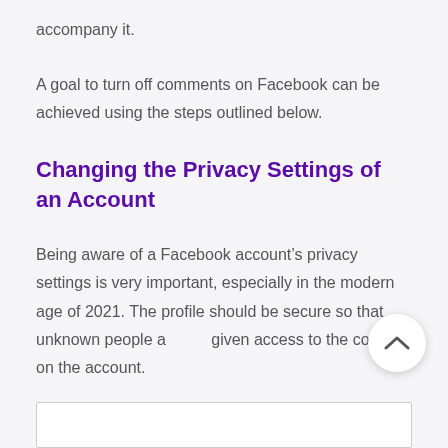accompany it.
A goal to turn off comments on Facebook can be achieved using the steps outlined below.
Changing the Privacy Settings of an Account
Being aware of a Facebook account’s privacy settings is very important, especially in the modern age of 2021. The profile should be secure so that unknown people are not given access to the content on the account.